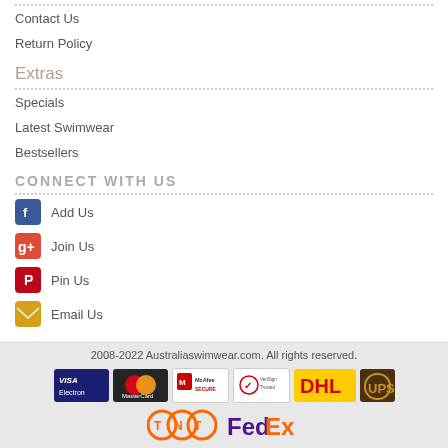Contact Us
Return Policy
Extras
Specials
Latest Swimwear
Bestsellers
CONNECT WITH US
Add Us
Join Us
Pin Us
Email Us
2008-2022 Australiaswimwear.com. All rights reserved.
[Figure (logo): Payment and shipping logos: Visa Electron, MasterCard, McAfee SECURE, VeriSign, DHL, UPS, TNT, FedEx]